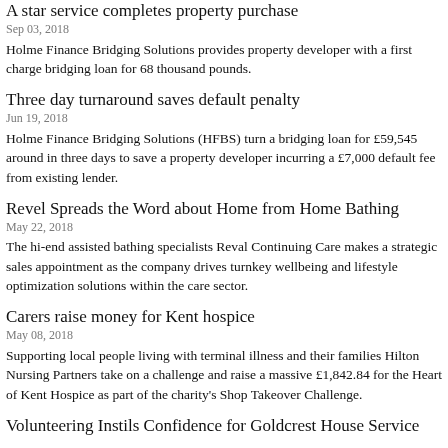A star service completes property purchase
Sep 03, 2018
Holme Finance Bridging Solutions provides property developer with a first charge bridging loan for 68 thousand pounds.
Three day turnaround saves default penalty
Jun 19, 2018
Holme Finance Bridging Solutions (HFBS) turn a bridging loan for £59,545 around in three days to save a property developer incurring a £7,000 default fee from existing lender.
Revel Spreads the Word about Home from Home Bathing
May 22, 2018
The hi-end assisted bathing specialists Reval Continuing Care makes a strategic sales appointment as the company drives turnkey wellbeing and lifestyle optimization solutions within the care sector.
Carers raise money for Kent hospice
May 08, 2018
Supporting local people living with terminal illness and their families Hilton Nursing Partners take on a challenge and raise a massive £1,842.84 for the Heart of Kent Hospice as part of the charity's Shop Takeover Challenge.
Volunteering Instils Confidence for Goldcrest House Service